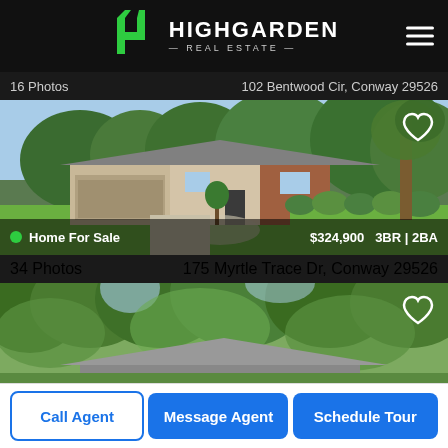[Figure (logo): Highgarden Real Estate logo with green H icon and white text]
16 Photos
102 Bentwood Cir, Conway 29526
[Figure (photo): Exterior photo of ranch-style home with brick accents, two-car garage, circular driveway, well-manicured lawn and green landscaping]
Home For Sale  $324,900  3BR | 2BA
34 Photos
175 Myrtle Trace Dr, Conway 29526
[Figure (photo): Exterior photo of home surrounded by lush green trees and landscaping]
Call Agent
Message Agent
Schedule Tour